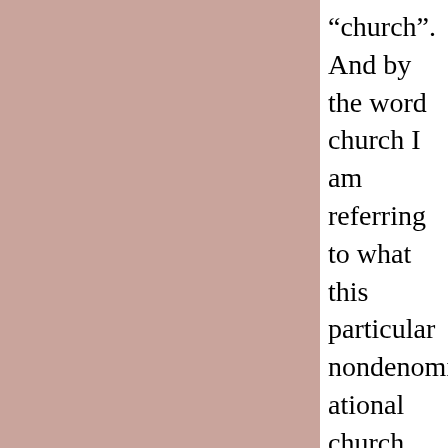[Figure (other): Large mauve/dusty rose colored rectangular panel occupying the left portion of the page]
“church”. And by the word church I am referring to what this particular nondenominational church believed. In other words,